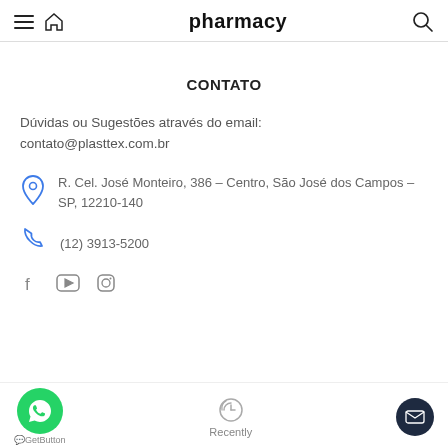pharmacy
CONTATO
Dúvidas ou Sugestões através do email:
contato@plasttex.com.br
R. Cel. José Monteiro, 386 – Centro, São José dos Campos – SP, 12210-140
(12) 3913-5200
[Figure (other): Social media icons: Facebook, YouTube, Instagram]
GetButton | Recently